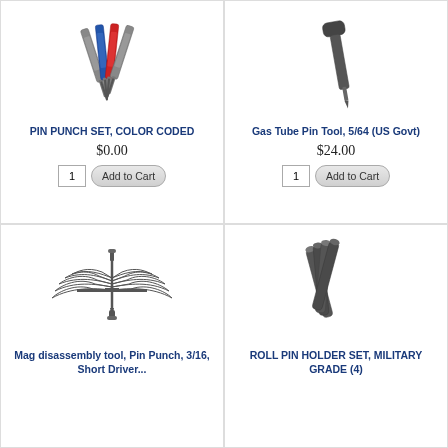[Figure (illustration): Color coded pin punch set - 4 metal punches with colored handles (gray, blue, red, gray) fanned out]
PIN PUNCH SET, COLOR CODED
$0.00
[Figure (illustration): Gas tube pin tool - single metal rod with black handle tip, 5/64 size for US Government]
Gas Tube Pin Tool, 5/64 (US Govt)
$24.00
[Figure (illustration): Military wings with sword emblem - mag disassembly tool logo]
Mag disassembly tool, Pin Punch, 3/16, Short Driver...
[Figure (illustration): Roll pin holder set - 4 dark gray cylindrical metal rods bundled together]
ROLL PIN HOLDER SET, MILITARY GRADE (4)